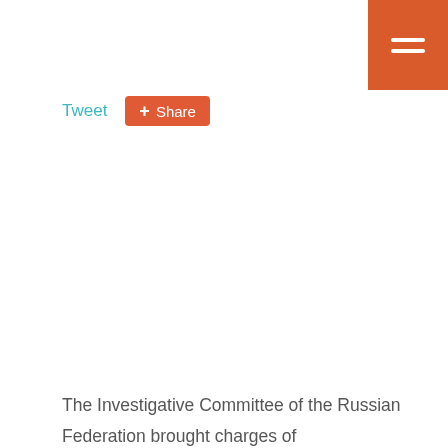Menu icon (hamburger)
Tweet
Share
The Investigative Committee of the Russian Federation brought charges of embezzlement to the head of the engineering and technical support service (SITO) of the FSO of Russia Major-General Igor Vasiliev. The events took place within the framework of the embezzlement of funds for the reconstruction of the presidential residence in Novo-Ogarevo. According to the investigation, senior FSO employees and owners of Baltstroy group of companies earned 1.5 billion rubles for air conditioners,